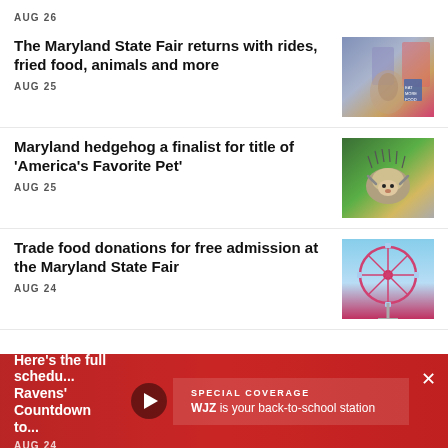AUG 26
The Maryland State Fair returns with rides, fried food, animals and more
AUG 25
[Figure (photo): Photo of people at the Maryland State Fair]
Maryland hedgehog a finalist for title of 'America's Favorite Pet'
AUG 25
[Figure (photo): Photo of a hedgehog outdoors]
Trade food donations for free admission at the Maryland State Fair
AUG 24
[Figure (photo): Photo of a ferris wheel]
Here's the full schedul... Ravens' Countdown to...
AUG 24
SPECIAL COVERAGE
WJZ is your back-to-school station